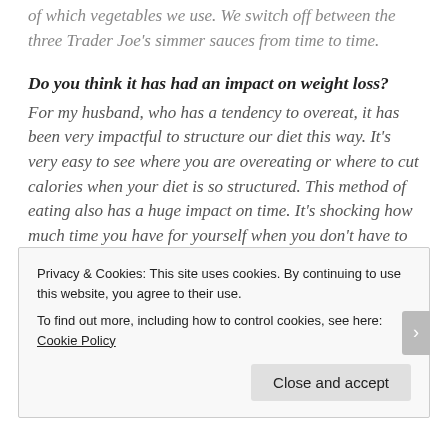of which vegetables we use. We switch off between the three Trader Joe's simmer sauces from time to time.
Do you think it has had an impact on weight loss?
For my husband, who has a tendency to overeat, it has been very impactful to structure our diet this way. It's very easy to see where you are overeating or where to cut calories when your diet is so structured. This method of eating also has a huge impact on time. It's shocking how much time you have for yourself when you don't have to cook dinner and clean up afterwards. Evenings become a time to relax or a productive time
Privacy & Cookies: This site uses cookies. By continuing to use this website, you agree to their use.
To find out more, including how to control cookies, see here: Cookie Policy